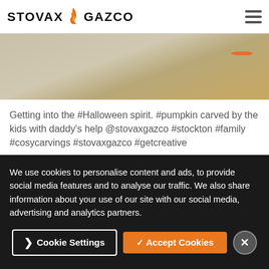STOVAX GAZCO
[Figure (photo): Close-up photo of a textured beige surface (possibly popcorn or cauliflower) with an orange pumpkin visible in upper right corner]
Getting into the #Halloween spirit. #pumpkin carved by the kids with daddy's help @stovaxgazco #stockton #family #cosycarvings #stovaxgazco #getcreative
October 30, 2017
We use cookies to personalise content and ads, to provide social media features and to analyse our traffic. We also share information about your use of our site with our social media, advertising and analytics partners.
Cookie Settings | ✓ Accept Cookies